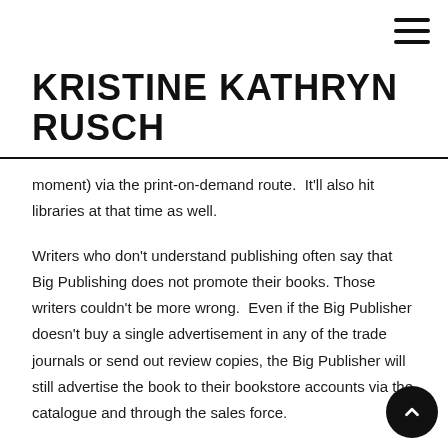KRISTINE KATHRYN RUSCH
moment) via the print-on-demand route.  It'll also hit libraries at that time as well.
Writers who don't understand publishing often say that Big Publishing does not promote their books. Those writers couldn't be more wrong.  Even if the Big Publisher doesn't buy a single advertisement in any of the trade journals or send out review copies, the Big Publisher will still advertise the book to their bookstore accounts via the catalogue and through the sales force.